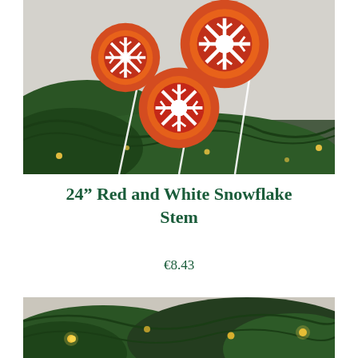[Figure (photo): Red and white felt snowflake ornaments on stems inserted into a green Christmas tree with small warm lights visible. Snowflakes are red with white cutout snowflake patterns and have an orange/gold outer border.]
24” Red and White Snowflake Stem
€8.43
[Figure (photo): Close-up of a green Christmas tree with small warm gold lights visible among the branches, blurred background.]